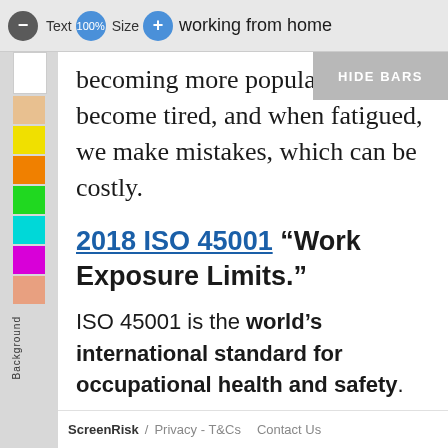Text Size working from home becoming more popular, but we become tired, and when fatigued, we make mistakes, which can be costly.
working from home becoming more popular, but we become tired, and when fatigued, we make mistakes, which can be costly.
2018 ISO 45001 “Work Exposure Limits.”
ISO 45001 is the world’s international standard for occupational health and safety.
ScreenRisk / Privacy - T&Cs Contact Us